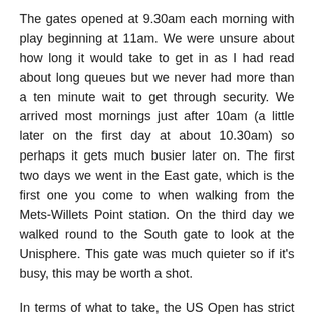The gates opened at 9.30am each morning with play beginning at 11am. We were unsure about how long it would take to get in as I had read about long queues but we never had more than a ten minute wait to get through security. We arrived most mornings just after 10am (a little later on the first day at about 10.30am) so perhaps it gets much busier later on. The first two days we went in the East gate, which is the first one you come to when walking from the Mets-Willets Point station. On the third day we walked round to the South gate to look at the Unisphere. This gate was much quieter so if it's busy, this may be worth a shot.
In terms of what to take, the US Open has strict restrictions on bags – my number one tip is don't bring a rucksack! This was really alien to me because i've never